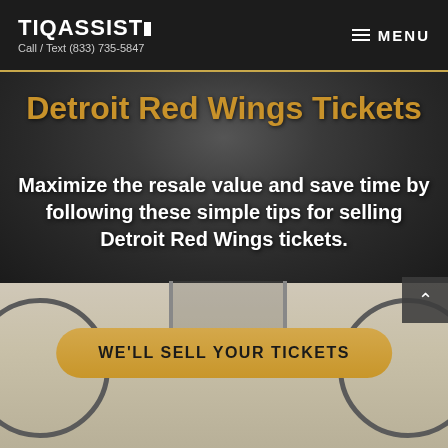TIQASSIST
Call / Text (833) 735-5847
Detroit Red Wings Tickets
Maximize the resale value and save time by following these simple tips for selling Detroit Red Wings tickets.
[Figure (screenshot): WE'LL SELL YOUR TICKETS button (gold/tan rounded pill button)]